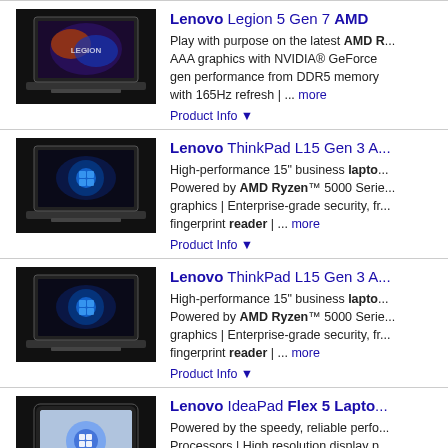[Figure (photo): Lenovo Legion 5 Gen 7 AMD laptop product photo]
Lenovo Legion 5 Gen 7 AMD — Play with purpose on the latest AMD R... AAA graphics with NVIDIA® GeForce gen performance from DDR5 memory with 165Hz refresh | ... more
Product Info ▼
[Figure (photo): Lenovo ThinkPad L15 Gen 3 AMD laptop product photo]
Lenovo ThinkPad L15 Gen 3 A... — High-performance 15" business laptop. Powered by AMD Ryzen™ 5000 Serie... graphics | Enterprise-grade security, fr... fingerprint reader | ... more
Product Info ▼
[Figure (photo): Lenovo ThinkPad L15 Gen 3 AMD laptop product photo (second listing)]
Lenovo ThinkPad L15 Gen 3 A... — High-performance 15" business laptop. Powered by AMD Ryzen™ 5000 Serie... graphics | Enterprise-grade security, fr... fingerprint reader | ... more
Product Info ▼
[Figure (photo): Lenovo IdeaPad Flex 5 Laptop product photo]
Lenovo IdeaPad Flex 5 Lapto... — Powered by the speedy, reliable perfo... Processors | High resolution display p... creating & entertaining | Flexible 2-in-1 tablet, ... more
Product Info ▼